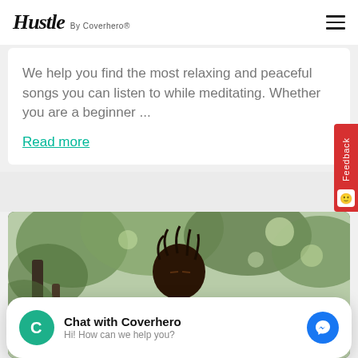Hustle By Coverhero®
We help you find the most relaxing and peaceful songs you can listen to while meditating. Whether you are a beginner ...
Read more
[Figure (photo): A person with braided hair outdoors among trees, wearing an orange top]
Chat with Coverhero
Hi! How can we help you?